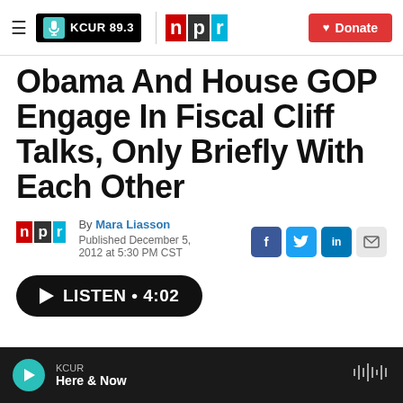KCUR 89.3 | npr | Donate
Obama And House GOP Engage In Fiscal Cliff Talks, Only Briefly With Each Other
By Mara Liasson
Published December 5, 2012 at 5:30 PM CST
LISTEN • 4:02
KCUR Here & Now